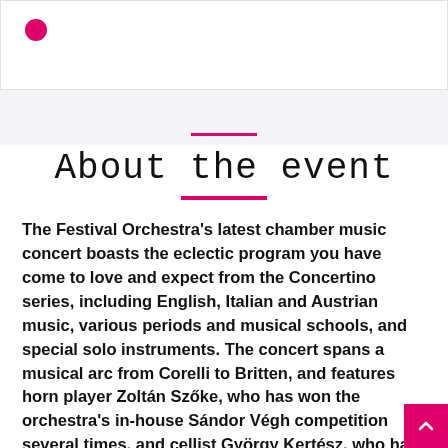About the event
The Festival Orchestra's latest chamber music concert boasts the eclectic program you have come to love and expect from the Concertino series, including English, Italian and Austrian music, various periods and musical schools, and special solo instruments. The concert spans a musical arc from Corelli to Britten, and features horn player Zoltán Szőke, who has won the orchestra's in-house Sándor Végh competition several times, and cellist György Kertész, who has been with the orchestra from its inception, alongside